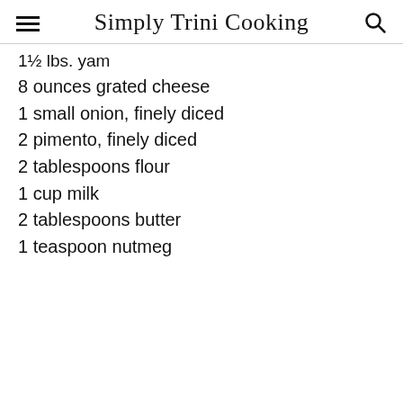Simply Trini Cooking
1½ lbs. yam
8 ounces grated cheese
1 small onion, finely diced
2 pimento, finely diced
2 tablespoons flour
1 cup milk
2 tablespoons butter
1 teaspoon nutmeg